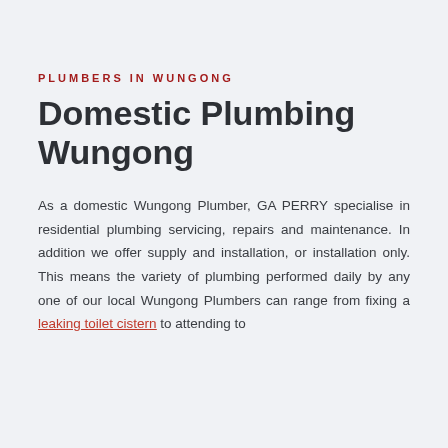PLUMBERS IN WUNGONG
Domestic Plumbing Wungong
As a domestic Wungong Plumber, GA PERRY specialise in residential plumbing servicing, repairs and maintenance. In addition we offer supply and installation, or installation only. This means the variety of plumbing performed daily by any one of our local Wungong Plumbers can range from fixing a leaking toilet cistern to attending to